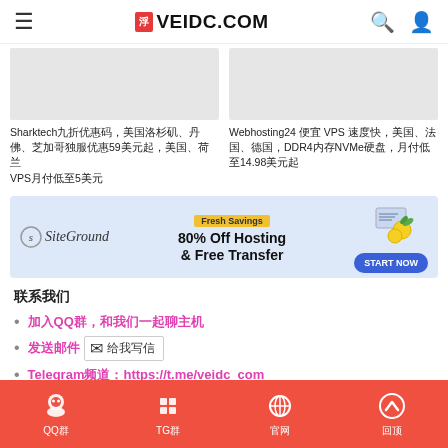VEIDC.COM
[Figure (photo): Two card images side by side (grey placeholders)]
Sharktech九折优惠码，美国洛杉矶、丹佛、芝加哥独服优惠59美元起，美国、荷兰VPS月付低至5美元
Webhosting24 便宜 VPS 速度快，美国、法国、德国，DDR4内存NVMe硬盘，月付低至14.98美元起
[Figure (photo): SiteGround advertisement banner: Fresh Savings 80% Off Hosting & Free Transfer, START NOW button]
联系我们
加入QQ群，和我们一起聊主机
发送邮件 给我写信
Telegram频道：https://t.me/veidc_com
Telegram群组：https://t.me/veidc
QQ群  TG群  官网  回顶